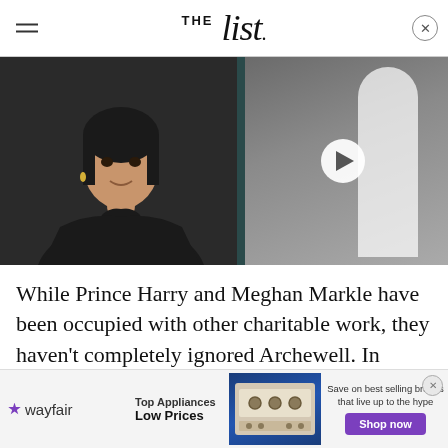THE list
[Figure (photo): Left: Meghan Markle smiling, wearing dark turtleneck jacket. Right: Partial figure in white top with video play button overlay.]
While Prince Harry and Meghan Markle have been occupied with other charitable work, they haven't completely ignored Archewell. In November 2021, the foundation announced its goal of becoming net zero by 2030. "As an organization, we will work with an independent consultant to track all Archewell-related
[Figure (infographic): Wayfair advertisement banner: Top Appliances Low Prices, Save on best selling brands that live up to the hype, Shop now button.]